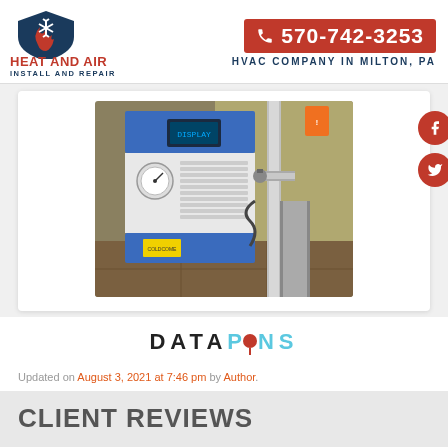[Figure (logo): Heat and Air Install and Repair logo with flame and snowflake shield icon]
570-742-3253
HVAC COMPANY IN MILTON, PA
[Figure (photo): Industrial HVAC refrigerated air dryer unit with blue top and bottom panels, white middle, gauge and digital display, installed in a basement next to piping and valves]
[Figure (logo): DataPins logo in dark and teal text with red pin dot replacing the letter O]
Updated on August 3, 2021 at 7:46 pm by Author.
CLIENT REVIEWS